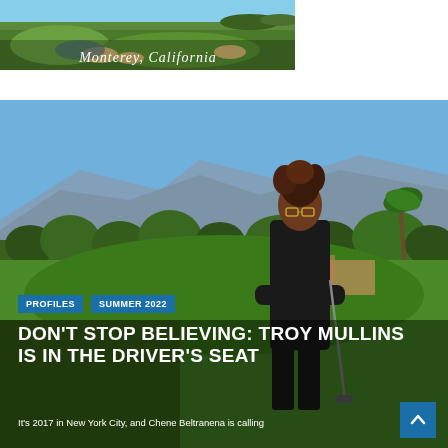[Figure (photo): Aerial view of a golf course with green fairways and sand bunkers, with text overlay reading 'Monterey, California']
[Figure (photo): A young Black woman in black golf attire standing on a golf course holding a golf club, with blue sky, trees, mountains and green fairways in the background]
PROFILES
SUMMER 2022
DON'T STOP BELIEVING: TROY MULLINS IS IN THE DRIVER'S SEAT
It's 2017 in New York City, and Chene Beltranena is calling